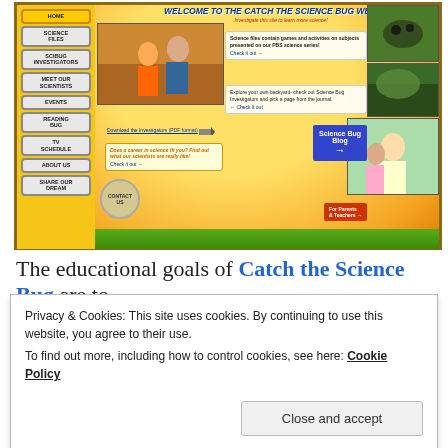[Figure (screenshot): Screenshot of the 'Catch the Science Bug' educational website showing navigation menu on left (Home, Science Files, SciBug Investigators, Meet Our Scientists, Events, Reading Bug, TV Schedule, About Us, Share Our Dream, Contact Us), a welcome banner reading 'WELCOME TO THE CATCH THE SCIENCE BUG WEBSITE! Investigate this site to learn more science!', sunburst background, info boxes about science files and Bug Investigators, photos of children doing science activities, a Science Bug Blog sign, For Parents & Teachers sign, and grass/wood border decorations.]
The educational goals of Catch the Science Bug are to
Privacy & Cookies: This site uses cookies. By continuing to use this website, you agree to their use.
To find out more, including how to control cookies, see here: Cookie Policy
Close and accept